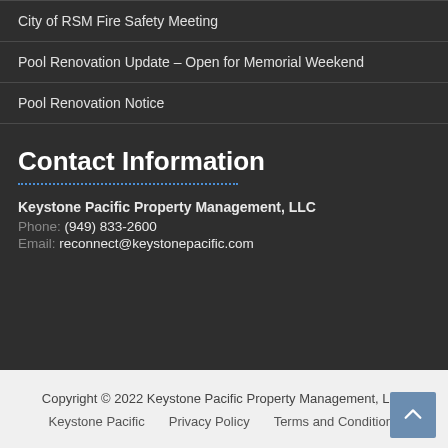City of RSM Fire Safety Meeting
Pool Renovation Update – Open for Memorial Weekend
Pool Renovation Notice
Contact Information
Keystone Pacific Property Management, LLC
Phone: (949) 833-2600
Email: reconnect@keystonepacific.com
Copyright © 2022 Keystone Pacific Property Management, LLC
Keystone Pacific   Privacy Policy   Terms and Conditions